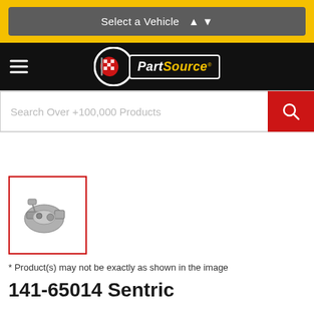[Figure (screenshot): PartSource website screenshot showing vehicle selector, logo, search bar, product thumbnail, and product title beginning with '141-65014 Sentric']
Select a Vehicle ▲ ▼
[Figure (logo): PartSource logo — checkered flag with red and white flag on black circle, yellow italic text 'PartSource' on black banner with white border]
Search Over +100,000 Products
[Figure (photo): Small thumbnail photo of an automotive part (appears to be a bracket or sensor assembly) inside a red-bordered box]
* Product(s) may not be exactly as shown in the image
141-65014 Sentric